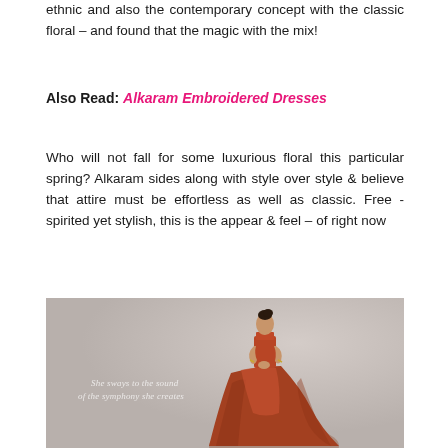ethnic and also the contemporary concept with the classic floral – and found that the magic with the mix!
Also Read: Alkaram Embroidered Dresses
Who will not fall for some luxurious floral this particular spring? Alkaram sides along with style over style & believe that attire must be effortless as well as classic. Free -spirited yet stylish, this is the appear & feel – of right now
[Figure (photo): A woman wearing a burnt-orange/rust colored traditional dress with a voluminous skirt, posed against a grey background. Cursive overlay text reads: 'She sways to the sound of the symphony she creates']